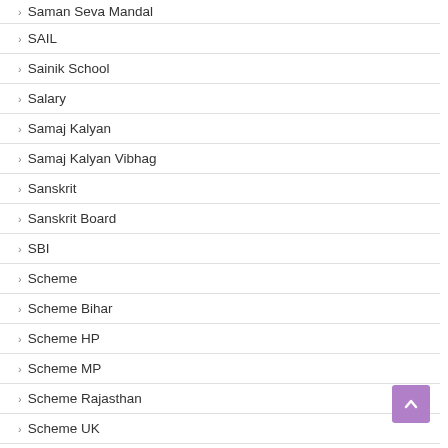Saman Seva Mandal
SAIL
Sainik School
Salary
Samaj Kalyan
Samaj Kalyan Vibhag
Sanskrit
Sanskrit Board
SBI
Scheme
Scheme Bihar
Scheme HP
Scheme MP
Scheme Rajasthan
Scheme UK
Scheme UP